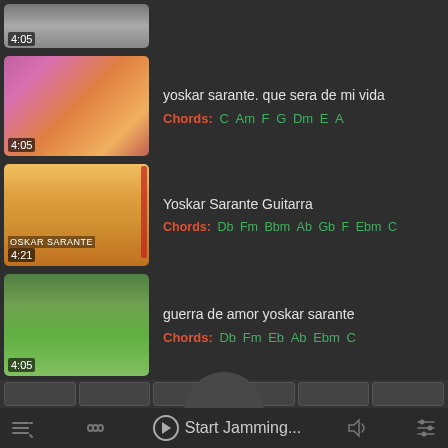[Figure (screenshot): Thumbnail image of first song, partially visible, with timestamp 4:05]
[Figure (screenshot): Thumbnail of yoskar sarante album art with person in patterned jacket, timestamp 4:05]
yoskar sarante. que sera de mi vida
Chords: C Am F G Dm E A
[Figure (screenshot): Thumbnail of Yoskar Sarante Guitarra album art with person smiling, timestamp 4:21, OSKAR SARANTE text]
Yoskar Sarante Guitarra
Chords: Db Fm Bbm Ab Gb F Ebm C
[Figure (screenshot): Thumbnail of guerra de amor yoskar sarante showing person outdoors with trees, timestamp 4:05]
guerra de amor yoskar sarante
Chords: Db Fm Eb Ab Ebm C
Start Jamming...